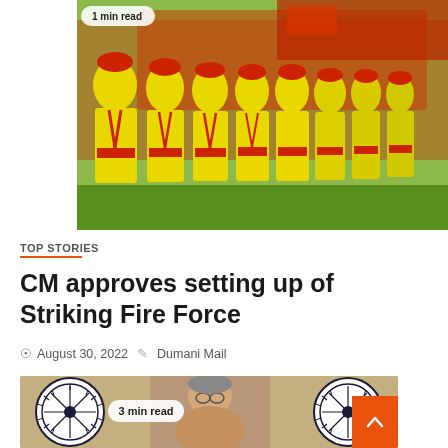[Figure (photo): Group of firefighters in yellow uniforms with red berets and red belts standing in a row in front of a fire truck]
TOP STORIES
CM approves setting up of Striking Fire Force
August 30, 2022  Dumani Mail
[Figure (photo): Portrait of an elderly man speaking, with Indian flag Ashoka Chakra wheels visible on both sides]